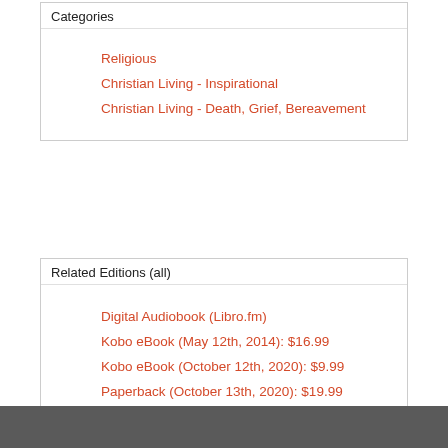Categories
Religious
Christian Living - Inspirational
Christian Living - Death, Grief, Bereavement
Related Editions (all)
Digital Audiobook (Libro.fm)
Kobo eBook (May 12th, 2014): $16.99
Kobo eBook (October 12th, 2020): $9.99
Paperback (October 13th, 2020): $19.99
MP3 CD (May 6th, 2014): $14.99
Compact Disc (May 6th, 2014): $19.99